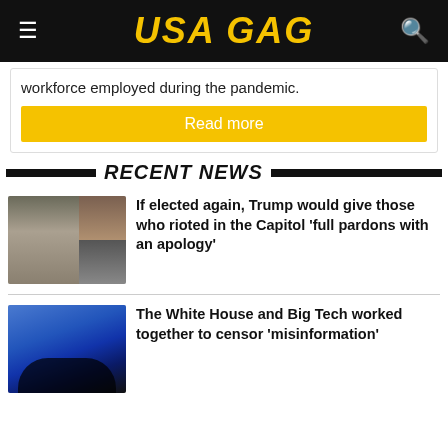USA GAG
workforce employed during the pandemic.
Read more
RECENT NEWS
[Figure (photo): Trump at podium with Capitol riot imagery collage]
If elected again, Trump would give those who rioted in the Capitol 'full pardons with an apology'
[Figure (photo): Biden speaking at a blue-lit event]
The White House and Big Tech worked together to censor 'misinformation'